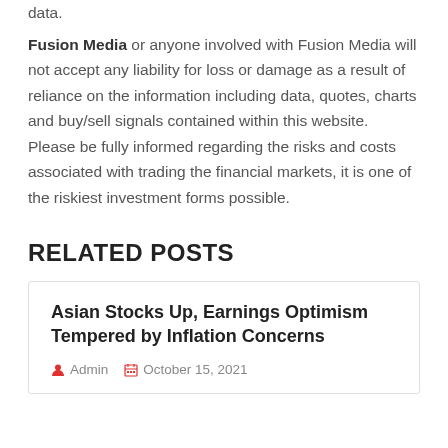data.
Fusion Media or anyone involved with Fusion Media will not accept any liability for loss or damage as a result of reliance on the information including data, quotes, charts and buy/sell signals contained within this website. Please be fully informed regarding the risks and costs associated with trading the financial markets, it is one of the riskiest investment forms possible.
RELATED POSTS
Asian Stocks Up, Earnings Optimism Tempered by Inflation Concerns
Admin  October 15, 2021